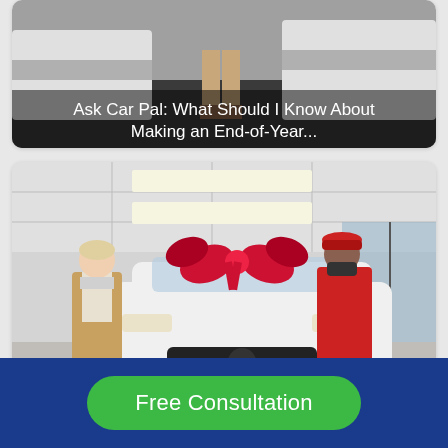[Figure (photo): Top card showing a partial view of a car and person's feet/legs near a dealership, with overlay text reading 'Ask Car Pal: What Should I Know About Making an End-of-Year...']
Ask Car Pal: What Should I Know About Making an End-of-Year...
[Figure (photo): Second card showing two people standing in a car dealership with a white Lexus (license plate CA 44592) with a large red bow on top. A woman in a tan blazer and mask stands on the left, a man in a red plaid shirt and mask on the right.]
Free Consultation